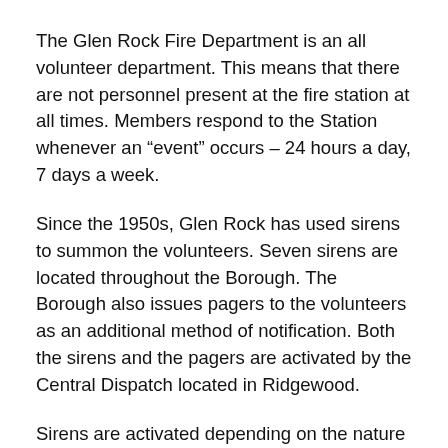The Glen Rock Fire Department is an all volunteer department. This means that there are not personnel present at the fire station at all times. Members respond to the Station whenever an “event” occurs – 24 hours a day, 7 days a week.
Since the 1950s, Glen Rock has used sirens to summon the volunteers. Seven sirens are located throughout the Borough. The Borough also issues pagers to the volunteers as an additional method of notification. Both the sirens and the pagers are activated by the Central Dispatch located in Ridgewood.
Sirens are activated depending on the nature of the emergency and the time of its occurrence. For example, during daytime hours, there are more fire calls but fewer volunteer firefighters available to respond. Therefore, the sirens sound between 7:00 AM and 11:00 PM for all